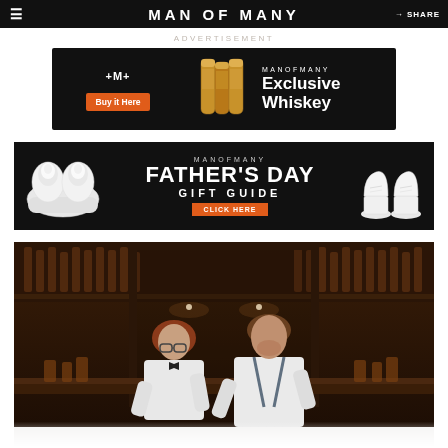MAN OF MANY
ADVERTISEMENT
[Figure (infographic): Man of Many Exclusive Whiskey advertisement banner. Black background with logo, orange Buy It Here button, whiskey bottle images, and text MANOFMANY Exclusive Whiskey]
[Figure (infographic): Man of Many Father's Day Gift Guide advertisement banner. Black background with AirPods Pro on left, MANOFMANY FATHER'S DAY GIFT GUIDE text in center with orange CLICK HERE button, white sneakers on right]
[Figure (photo): Bar scene with two bartenders in white shirts working behind a bar counter, bottles and shelves visible in background, warm amber lighting]